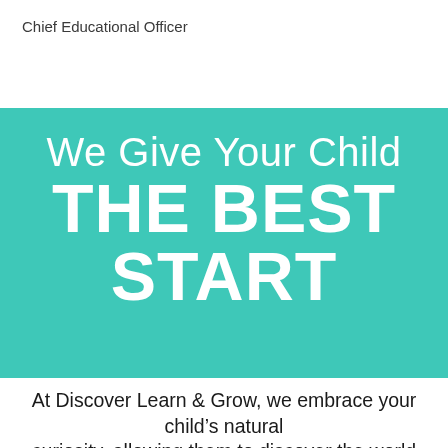Chief Educational Officer
We Give Your Child THE BEST START
At Discover Learn & Grow, we embrace your child's natural curiosity, allowing them to discover the world through hands-on education. Ages 2-5 are a crucial time for brain development. Our